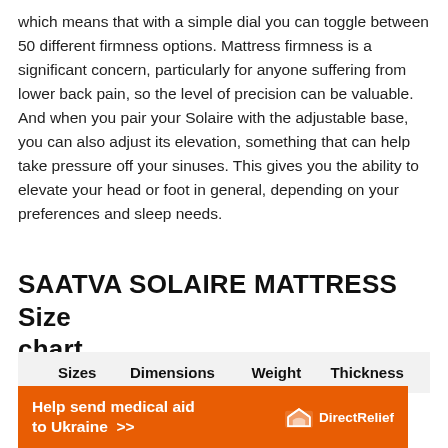which means that with a simple dial you can toggle between 50 different firmness options. Mattress firmness is a significant concern, particularly for anyone suffering from lower back pain, so the level of precision can be valuable. And when you pair your Solaire with the adjustable base, you can also adjust its elevation, something that can help take pressure off your sinuses. This gives you the ability to elevate your head or foot in general, depending on your preferences and sleep needs.
SAATVA SOLAIRE MATTRESS  Size chart
| Sizes | Dimensions | Weight | Thickness |
| --- | --- | --- | --- |
[Figure (other): Orange advertisement banner for Direct Relief: 'Help send medical aid to Ukraine >>' with Direct Relief logo on the right.]